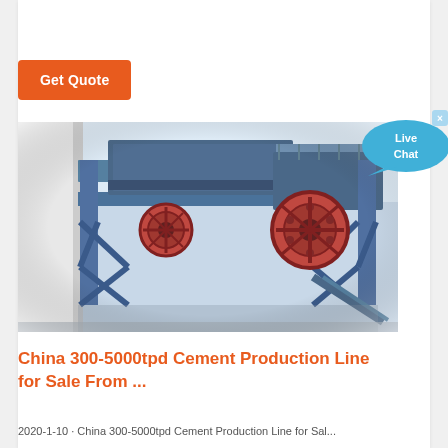Get Quote
[Figure (photo): Industrial cement production line machinery — large blue steel frame structure with mechanical components including a large red flywheel/pulley, conveyor and crusher equipment at a construction site.]
[Figure (illustration): Live Chat speech bubble button — cyan/blue bubble with 'Live Chat' text and a small X close button.]
China 300-5000tpd Cement Production Line for Sale From ...
2020-1-10 · China 300-5000tpd Cement Production Line for Sal...